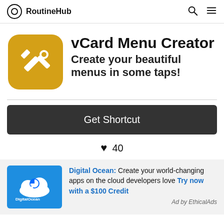RoutineHub
vCard Menu Creator
Create your beautiful menus in some taps!
Get Shortcut
♥ 40
Digital Ocean: Create your world-changing apps on the cloud developers love Try now with a $100 Credit
Ad by EthicalAds